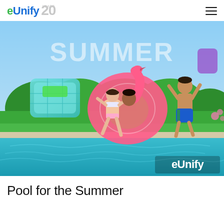eUnify 20 YEARS
[Figure (photo): Children jumping into a swimming pool holding colorful inflatable pool toys (a teal inflatable, a pink flamingo ring float). The word SUMMER is overlaid in large text at the top, and the eUnify logo appears in the bottom right corner.]
Pool for the Summer